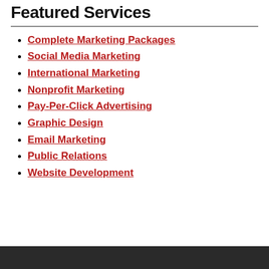Featured Services
Complete Marketing Packages
Social Media Marketing
International Marketing
Nonprofit Marketing
Pay-Per-Click Advertising
Graphic Design
Email Marketing
Public Relations
Website Development